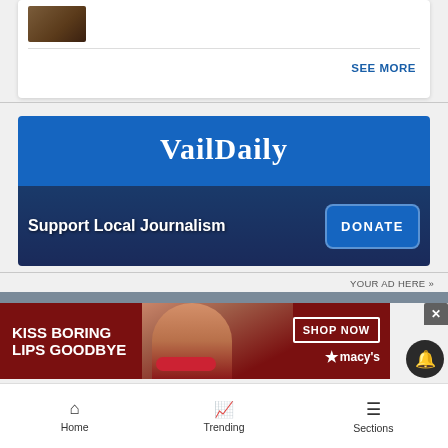[Figure (photo): Cropped thumbnail of a person seated at what appears to be a desk or podium]
SEE MORE
[Figure (logo): VailDaily logo on blue background with Support Local Journalism text and DONATE button]
YOUR AD HERE »
[Figure (photo): Macy's advertisement - Kiss Boring Lips Goodbye with Shop Now button and Macy's star logo]
[Figure (other): Bell/notification icon button]
[Figure (other): Close (X) button]
Home   Trending   Sections